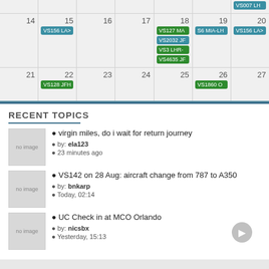[Figure (other): Calendar view showing weeks of 14-20 and 21-27 with flight event pills: VS007 LH (teal, partial top), VS156 LA (teal, day 15), VS127 MA (green, day 18), S6 MIA-LH (teal, day 19), VS156 LA (teal, day 20), VS2032 JF (teal, day 18), VS3 LHR- (green, day 18), VS4635 JF (green, day 18), VS128 JFH (green, day 22), VS1860 O (green, day 26)]
RECENT TOPICS
[Figure (other): no image placeholder thumbnail]
virgin miles, do i wait for return journey
by: ela123
23 minutes ago
[Figure (other): no image placeholder thumbnail]
VS142 on 28 Aug: aircraft change from 787 to A350
by: bnkarp
Today, 02:14
[Figure (other): no image placeholder thumbnail]
UC Check in at MCO Orlando
by: nicsbx
Yesterday, 15:13